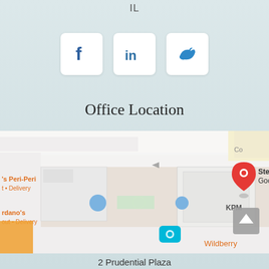IL
[Figure (infographic): Three social media icon buttons: Facebook (f), LinkedIn (in), Twitter (bird) in white rounded square cards]
Office Location
[Figure (map): Google Maps view showing Steinberg Goodman & Kalish office location with a red map pin, nearby places including Nando's Peri-Peri, Giordano's, Wildberry, KPMG, with a teal camera icon and an online chat agent avatar with green status dot and Online Agent label in teal]
2 Prudential Plaza